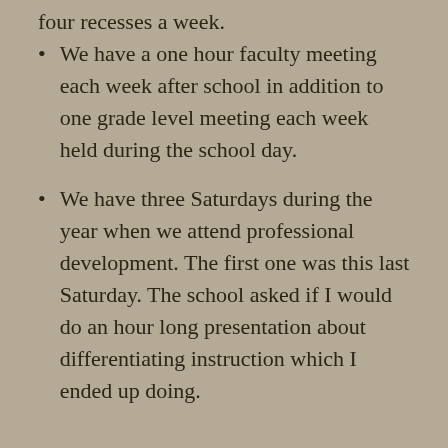four recesses a week.
We have a one hour faculty meeting each week after school in addition to one grade level meeting each week held during the school day.
We have three Saturdays during the year when we attend professional development.  The first one was this last Saturday.  The school asked if I would do an hour long presentation about differentiating instruction which I ended up doing.
School is going well although at times I feel overwhelmed.  I am confident with the reading, writing and math instruction but getting the hang of the international baccalaureate curriculum with